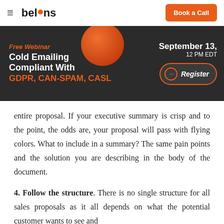belkins | Book a Call
[Figure (infographic): Free Webinar banner: Cold Emailing Compliant With GDPR, CAN-SPAM, CASL. September 13, 12 PM EDT. Register button. Dark background with orange sphere decoration.]
entire proposal. If your executive summary is crisp and to the point, the odds are, your proposal will pass with flying colors. What to include in a summary? The same pain points and the solution you are describing in the body of the document.
4. Follow the structure. There is no single structure for all sales proposals as it all depends on what the potential customer wants to see and